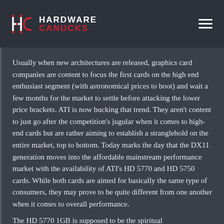Hardware Canucks
Usually when new architectures are released, graphics card companies are content to focus the first cards on the high end enthusiast segment (with astronomical prices to boot) and wait a few months for the market to settle before attacking the lower price brackets. ATI is now bucking that trend. They aren't content to just go after the competition's jugular when it comes to high-end cards but are rather aiming to establish a stranglehold on the entire market, top to bottom. Today marks the day that the DX11 generation moves into the affordable mainstream performance market with the availability of ATI's HD 5770 and HD 5750 cards. While both cards are aimed for basically the same type of consumers, they may prove to be quite different from one another when it comes to overall performance.
The HD 5770 1GB is supposed to be the spiritual